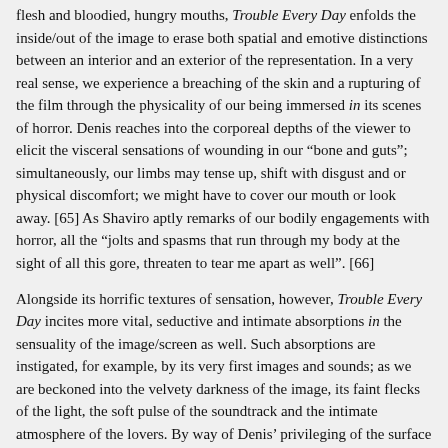flesh and bloodied, hungry mouths, Trouble Every Day enfolds the inside/out of the image to erase both spatial and emotive distinctions between an interior and an exterior of the representation. In a very real sense, we experience a breaching of the skin and a rupturing of the film through the physicality of our being immersed in its scenes of horror. Denis reaches into the corporeal depths of the viewer to elicit the visceral sensations of wounding in our “bone and guts”; simultaneously, our limbs may tense up, shift with disgust and or physical discomfort; we might have to cover our mouth or look away. [65] As Shaviro aptly remarks of our bodily engagements with horror, all the “jolts and spasms that run through my body at the sight of all this gore, threaten to tear me apart as well”. [66]
Alongside its horrific textures of sensation, however, Trouble Every Day incites more vital, seductive and intimate absorptions in the sensuality of the image/screen as well. Such absorptions are instigated, for example, by its very first images and sounds; as we are beckoned into the velvety darkness of the image, its faint flecks of the light, the soft pulse of the soundtrack and the intimate atmosphere of the lovers. By way of Denis’ privileging of the surface textures of body and world and the blurring of their distinctions between one another, I become sensuously enfolded in this film through the exquisite beauty as well as the melancholic of the